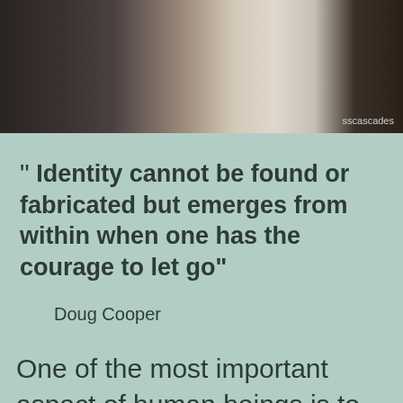[Figure (photo): A silhouette or partially visible person near a window with curtains, in dark and light tones]
" Identity cannot be found or fabricated but emerges from within when one has the courage to let go"

Doug Cooper
One of the most important aspect of human beings is to have a stable sense of self. Having a well-developed sense of self is what helps us make